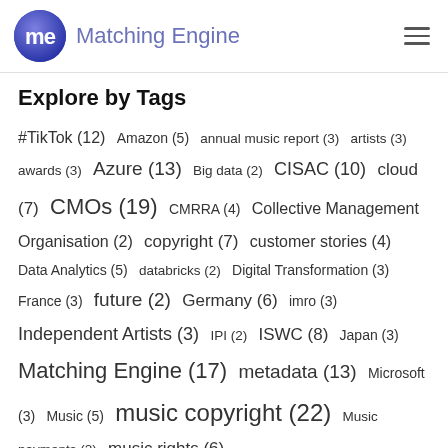Matching Engine
Explore by Tags
#TikTok (12)  Amazon (5)  annual music report (3)  artists (3)  awards (3)  Azure (13)  Big data (2)  CISAC (10)  cloud (7)  CMOs (19)  CMRRA (4)  Collective Management Organisation (2)  copyright (7)  customer stories (4)  Data Analytics (5)  databricks (2)  Digital Transformation (3)  France (3)  future (2)  Germany (6)  imro (3)  Independent Artists (3)  IPI (2)  ISWC (8)  Japan (3)  Matching Engine (17)  metadata (13)  Microsoft (3)  Music (5)  music copyright (22)  Music payments (2)  music rights (6)